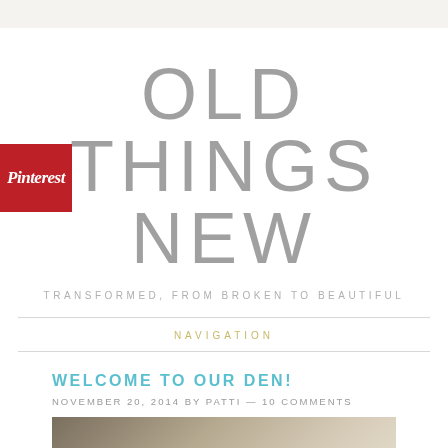[Figure (logo): Pinterest button — red square with white italic 'Pinterest' text]
OLD THINGS NEW
TRANSFORMED, FROM BROKEN TO BEAUTIFUL
NAVIGATION
WELCOME TO OUR DEN!
NOVEMBER 20, 2014 BY PATTI — 10 COMMENTS
[Figure (photo): Photo of a room interior, den area, with watermark www.oldthingsnewblog.com]